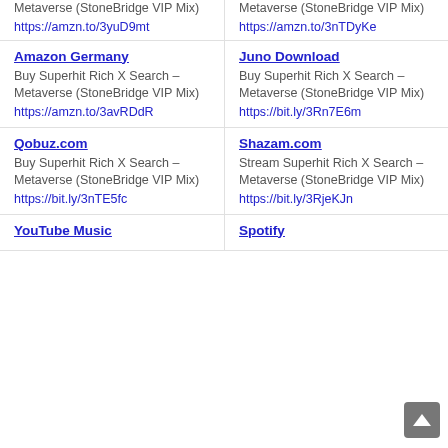Metaverse (StoneBridge VIP Mix)
https://amzn.to/3yuD9mt
Metaverse (StoneBridge VIP Mix)
https://amzn.to/3nTDyKe
Amazon Germany
Buy Superhit Rich X Search – Metaverse (StoneBridge VIP Mix)
https://amzn.to/3avRDdR
Juno Download
Buy Superhit Rich X Search – Metaverse (StoneBridge VIP Mix)
https://bit.ly/3Rn7E6m
Qobuz.com
Buy Superhit Rich X Search – Metaverse (StoneBridge VIP Mix)
https://bit.ly/3nTE5fc
Shazam.com
Stream Superhit Rich X Search – Metaverse (StoneBridge VIP Mix)
https://bit.ly/3RjeKJn
YouTube Music
Spotify